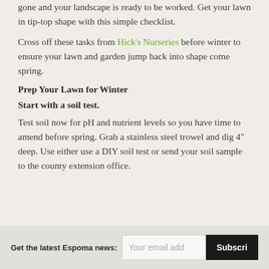gone and your landscape is ready to be worked. Get your lawn in tip-top shape with this simple checklist.
Cross off these tasks from Hick's Nurseries before winter to ensure your lawn and garden jump back into shape come spring.
Prep Your Lawn for Winter
Start with a soil test.
Test soil now for pH and nutrient levels so you have time to amend before spring. Grab a stainless steel trowel and dig 4" deep. Use either use a DIY soil test or send your soil sample to the county extension office.
Get the latest Espoma news: [email input] [Subscribe button]